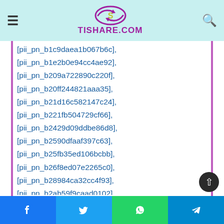TISHARE.COM
[pii_pn_b1c9daea1b067b6c],
[pii_pn_b1e2b0e94cc4ae92],
[pii_pn_b209a722890c220f],
[pii_pn_b20ff244821aaa35],
[pii_pn_b21d16c582147c24],
[pii_pn_b221fb504729cf66],
[pii_pn_b2429d09ddbe86d8],
[pii_pn_b2590dfaaf397c63],
[pii_pn_b25fb35ed106bcbb],
[pii_pn_b26f8ed07e2265c0],
[pii_pn_b28984ca32cc4f93],
[pii_pn_b2ab59f9caad0102],
Facebook | Twitter | WhatsApp | Telegram